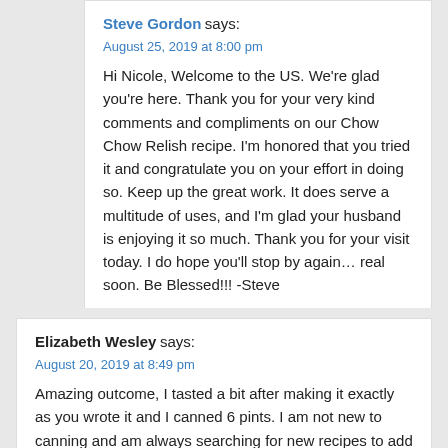Steve Gordon says:
August 25, 2019 at 8:00 pm
Hi Nicole, Welcome to the US. We're glad you're here. Thank you for your very kind comments and compliments on our Chow Chow Relish recipe. I'm honored that you tried it and congratulate you on your effort in doing so. Keep up the great work. It does serve a multitude of uses, and I'm glad your husband is enjoying it so much. Thank you for your visit today. I do hope you'll stop by again… real soon. Be Blessed!!! -Steve
reply
Elizabeth Wesley says:
August 20, 2019 at 8:49 pm
Amazing outcome, I tasted a bit after making it exactly as you wrote it and I canned 6 pints. I am not new to canning and am always searching for new recipes to add to my repertoire. I WILL be making this again. One small adjustment to your canning process that I learned some years ago, I always wipe the rims with white vinegar after I fill them, before I put on the lids and rims. It is just